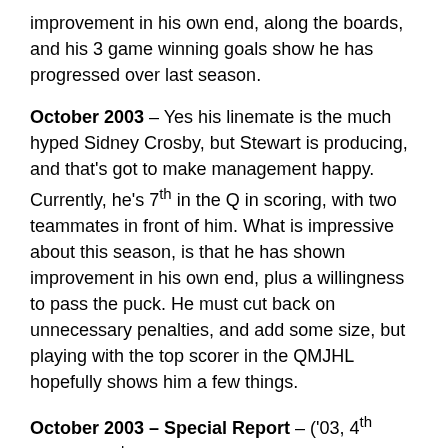improvement in his own end, along the boards, and his 3 game winning goals show he has progressed over last season.
October 2003 – Yes his linemate is the much hyped Sidney Crosby, but Stewart is producing, and that's got to make management happy. Currently, he's 7th in the Q in scoring, with two teammates in front of him. What is impressive about this season, is that he has shown improvement in his own end, plus a willingness to pass the puck. He must cut back on unnecessary penalties, and add some size, but playing with the top scorer in the QMJHL hopefully shows him a few things.
October 2003 – Special Report – ('03, 4th round 123rd) LW. Having young Phnom Sidney Crosby as your linemate will surely help increase your offensive production, but you still can't overlook the success the recently drafted Stewart has had so far. After Crosby who is 2nd in the QMJHL in scoring, Stewart is 2nd on